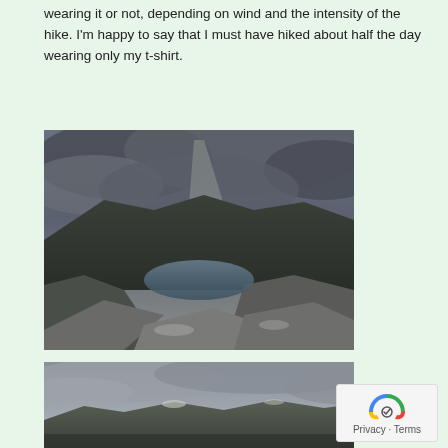wearing it or not, depending on wind and the intensity of the hike. I'm happy to say that I must have hiked about half the day wearing only my t-shirt.
[Figure (photo): A dramatic mountain landscape with rocky terrain, a lake in a valley below, and a shaft of light breaking through heavy grey clouds above.]
[Figure (photo): A wide-angle view of rolling mountains under a heavily overcast grey sky, with a sense of remote highland wilderness.]